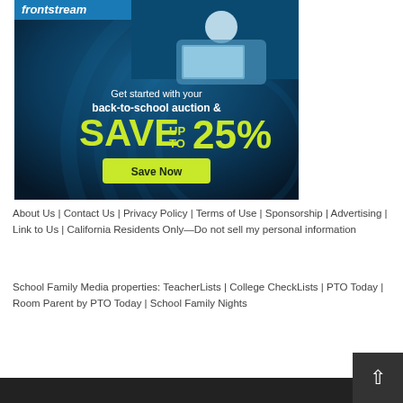[Figure (illustration): Frontstream advertisement banner with dark blue background and swirl patterns. Shows a person at a laptop, with text: 'Get started with your back-to-school auction & SAVE UP TO 25%' and a 'Save Now' button in yellow-green.]
About Us | Contact Us | Privacy Policy | Terms of Use | Sponsorship | Advertising | Link to Us | California Residents Only—Do not sell my personal information
School Family Media properties: TeacherLists | College CheckLists | PTO Today | Room Parent by PTO Today | School Family Nights